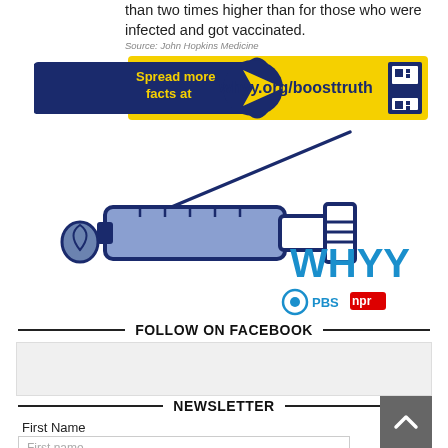than two times higher than for those who were infected and got vaccinated.
Source: John Hopkins Medicine
[Figure (infographic): WHYY BoostTruth banner with dark blue pill shape on left reading 'Spread more facts at' in yellow, connected to yellow rectangle with text 'whyy.org/boosttruth' and a QR code on the right.]
[Figure (illustration): Illustration of a medical syringe with dark blue outline and light blue/purple fill, tilted diagonally, with a drop coming from the needle tip. WHYY logo with PBS and NPR logos shown to the right.]
FOLLOW ON FACEBOOK
[Figure (screenshot): Gray placeholder box for Facebook follow widget.]
NEWSLETTER
First Name
First name